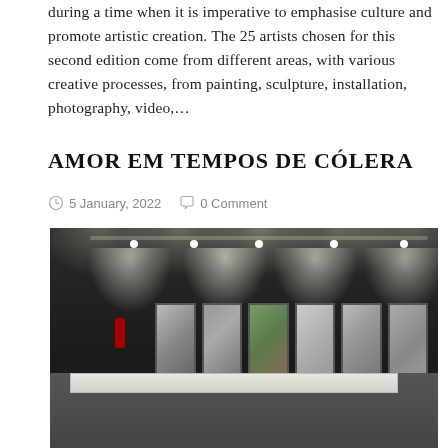during a time when it is imperative to emphasise culture and promote artistic creation. The 25 artists chosen for this second edition come from different areas, with various creative processes, from painting, sculpture, installation, photography, video,…
AMOR EM TEMPOS DE CÓLERA
5 January, 2022   0 Comment
[Figure (photo): Gallery installation photo showing six framed black-and-white photographs hung on a white wall with dramatic spotlight lighting from ceiling track lights, and a marble display table in the foreground with objects on it.]